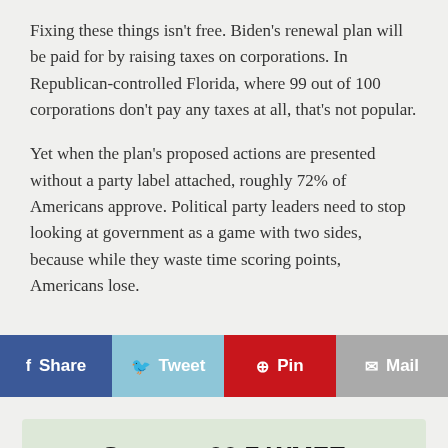Fixing these things isn't free. Biden's renewal plan will be paid for by raising taxes on corporations. In Republican-controlled Florida, where 99 out of 100 corporations don't pay any taxes at all, that's not popular.
Yet when the plan's proposed actions are presented without a party label attached, roughly 72% of Americans approve. Political party leaders need to stop looking at government as a game with two sides, because while they waste time scoring points, Americans lose.
[Figure (other): Social sharing buttons: Share (Facebook, blue), Tweet (Twitter, light blue), Pin (Pinterest, red), Mail (grey)]
Support 90.7 WMFE